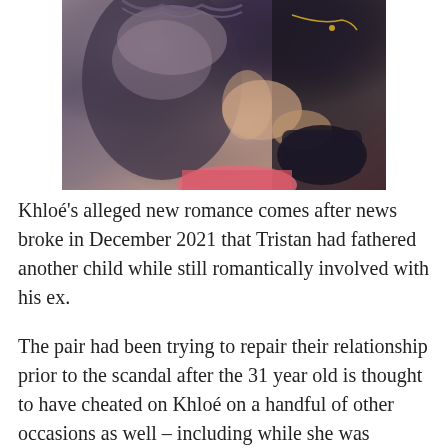[Figure (photo): Close-up photo of two women, one wearing a gray lace/ruffled top and the other wearing a black outfit with a gold necklace, holding a black bag near a pink item.]
Khloé's alleged new romance comes after news broke in December 2021 that Tristan had fathered another child while still romantically involved with his ex.
The pair had been trying to repair their relationship prior to the scandal after the 31 year old is thought to have cheated on Khloé on a handful of other occasions as well – including while she was pregnant.
While the most recent infidelity occurred late last